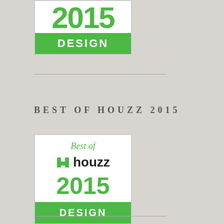[Figure (logo): Partial/cropped Best of Houzz badge at top showing year (cropped) and green DESIGN bar]
BEST OF HOUZZ 2015
[Figure (logo): Best of Houzz 2015 Design badge — white background with green 'Best of' text, houzz logo with green H icon, large green '2015', and green DESIGN bar at bottom]